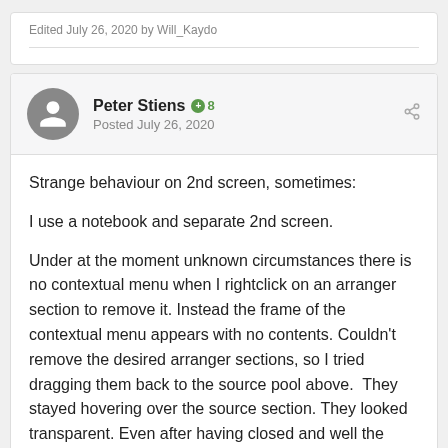Edited July 26, 2020 by Will_Kaydo
Peter Stiens +8
Posted July 26, 2020
Strange behaviour on 2nd screen, sometimes:
I use a notebook and separate 2nd screen.
Under at the moment unknown circumstances there is no contextual menu when I rightclick on an arranger section to remove it. Instead the frame of the contextual menu appears with no contents. Couldn't remove the desired arranger sections, so I tried dragging them back to the source pool above.  They stayed hovering over the source section. They looked transparent. Even after having closed and well the started on the source from a comment before